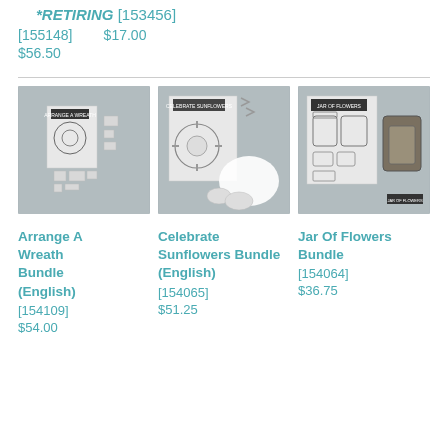*RETIRING [153456]
[155148]   $17.00
$56.50
[Figure (photo): Arrange A Wreath Bundle stamp set product photo on grey background]
[Figure (photo): Celebrate Sunflowers Bundle (English) stamp set product photo on grey background]
[Figure (photo): Jar Of Flowers Bundle product photo with stamp set and punch on grey background]
Arrange A Wreath Bundle (English)
[154109]
$54.00
Celebrate Sunflowers Bundle (English)
[154065]
$51.25
Jar Of Flowers Bundle
[154064]
$36.75